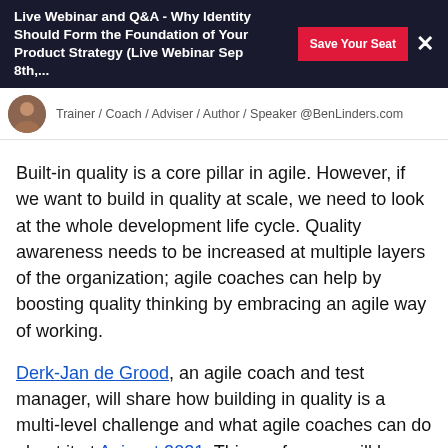Live Webinar and Q&A - Why Identity Should Form the Foundation of Your Product Strategy (Live Webinar Sep 8th,...
Trainer / Coach / Adviser / Author / Speaker @BenLinders.com
Built-in quality is a core pillar in agile. However, if we want to build in quality at scale, we need to look at the whole development life cycle. Quality awareness needs to be increased at multiple layers of the organization; agile coaches can help by boosting quality thinking by embracing an agile way of working.
Derk-Jan de Grood, an agile coach and test manager, will share how building in quality is a multi-level challenge and what agile coaches can do about it at Aginext 2021. This conference will be held online from March 17-19, 2021.